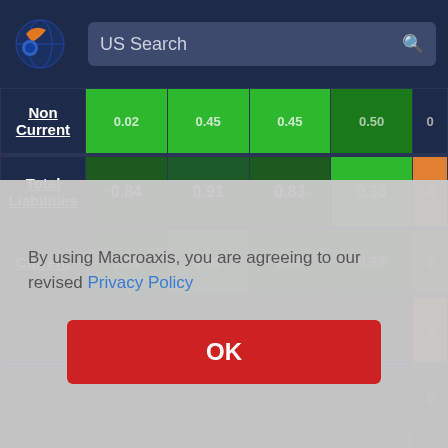[Figure (screenshot): Macroaxis website header with logo and US Search bar]
|  | Col1 | Col2 | Col3 | Col4 | Col5 |
| --- | --- | --- | --- | --- | --- |
| Non Current | 0.02 | 0.45 | 0.45 | 0.50 | 0 |
| Total Liabilities | 0.84 | 0.91 | 0.83 | 0.35 | -0 |
| Current | 0.86 | 0.92 | 0.85 | 0.39 | 0 |
| Payables |  |  |  |  |  |
By using Macroaxis, you are agreeing to our revised Privacy Policy
OK